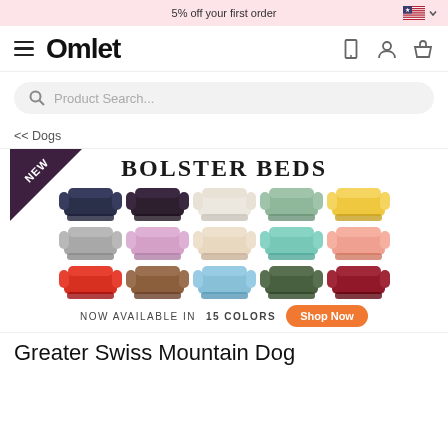5% off your first order
[Figure (screenshot): Omlet brand navigation bar with hamburger menu, Omlet logo, phone, account, and basket icons]
[Figure (screenshot): Product search bar with magnifying glass icon and placeholder text 'Product Search...']
<< Dogs
[Figure (infographic): Omlet Bolster Beds promotional banner showing 15 dog bed colors in 3 rows, with NEW ribbon, title BOLSTER BEDS, NOW AVAILABLE IN 15 COLORS with Shop Now button]
Greater Swiss Mountain Dog